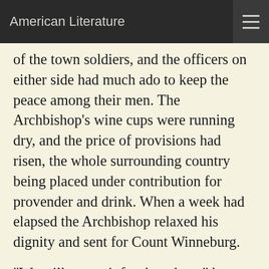American Literature
of the town soldiers, and the officers on either side had much ado to keep the peace among their men. The Archbishop's wine cups were running dry, and the price of provisions had risen, the whole surrounding country being placed under contribution for provender and drink. When a week had elapsed the Archbishop relaxed his dignity and sent for Count Winneburg.
"We will not wait for the others," he said. "I have no desire to humiliate you unnecessarily. Those who are here shall bear witness that you have apologised, and so I shall not insist on the presence of the laggards, but will receive your apology to-